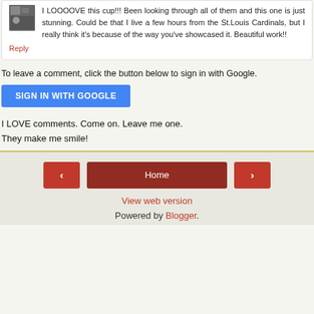I LOOOOVE this cup!!! Been looking through all of them and this one is just stunning. Could be that I live a few hours from the St.Louis Cardinals, but I really think it's because of the way you've showcased it. Beautiful work!!
Reply
To leave a comment, click the button below to sign in with Google.
[Figure (other): Blue 'SIGN IN WITH GOOGLE' button]
I LOVE comments. Come on. Leave me one.
They make me smile!
< Home > View web version Powered by Blogger.